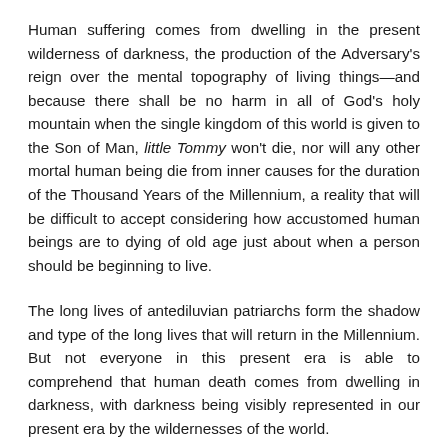Human suffering comes from dwelling in the present wilderness of darkness, the production of the Adversary's reign over the mental topography of living things—and because there shall be no harm in all of God's holy mountain when the single kingdom of this world is given to the Son of Man, little Tommy won't die, nor will any other mortal human being die from inner causes for the duration of the Thousand Years of the Millennium, a reality that will be difficult to accept considering how accustomed human beings are to dying of old age just about when a person should be beginning to live.
The long lives of antediluvian patriarchs form the shadow and type of the long lives that will return in the Millennium. But not everyone in this present era is able to comprehend that human death comes from dwelling in darkness, with darkness being visibly represented in our present era by the wildernesses of the world.